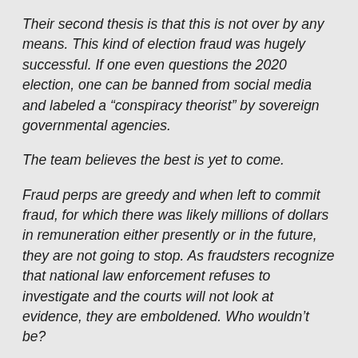Their second thesis is that this is not over by any means.  This kind of election fraud was hugely successful.  If one even questions the 2020 election, one can be banned from social media and labeled a “conspiracy theorist” by sovereign governmental agencies.
The team believes the best is yet to come.
Fraud perps are greedy and when left to commit fraud, for which there was likely millions of dollars in remuneration either presently or in the future, they are not going to stop. As fraudsters recognize that national law enforcement refuses to investigate and the courts will not look at evidence, they are emboldened.  Who wouldn’t be?
Our courts and law enforcement are saying “come,